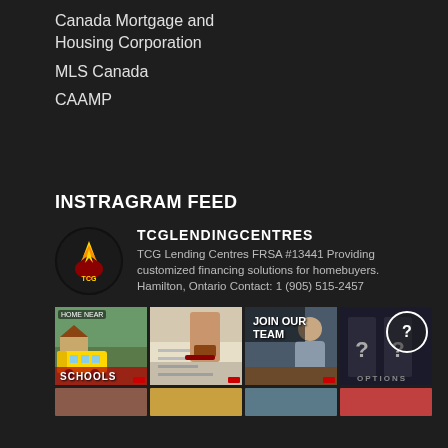Canada Mortgage and Housing Corporation
MLS Canada
CAAMP
INSTRAGRAM FEED
TCGLENDINGCENTRES
TCG Lending Centres FRSA #13441 Providing customized financing solutions for homebuyers. Hamilton, Ontario Contact: 1 (905) 515-2457
[Figure (photo): Instagram feed grid showing four images: a school bus near houses with 'SCHOOLS' label, a stamp on document, a woman at desk with 'JOIN OUR TEAM' text, and a person viewing doors with '? OPTIONS ?' text and circle overlay. Below is a partial row of four more thumbnails.]